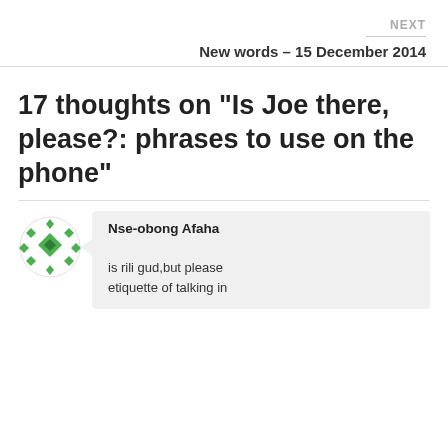NEXT
New words – 15 December 2014
17 thoughts on “Is Joe there, please?: phrases to use on the phone”
Nse-obong Afaha

is rili gud,but please etiquette of talking in